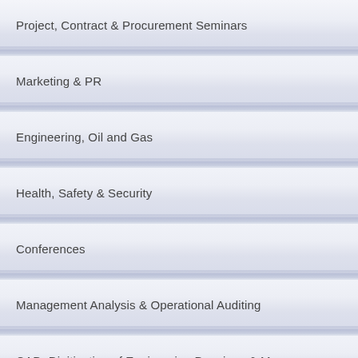Project, Contract & Procurement Seminars
Marketing & PR
Engineering, Oil and Gas
Health, Safety & Security
Conferences
Management Analysis & Operational Auditing
CAD, Digitization of Engineering Drawings & Maps
Electrical, Renewable Energy...